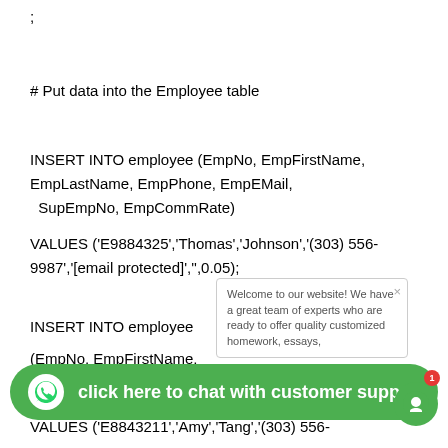;
# Put data into the Employee table
INSERT INTO employee (EmpNo, EmpFirstName, EmpLastName, EmpPhone, EmpEMail,
  SupEmpNo, EmpCommRate)
VALUES ('E9884325','Thomas','Johnson','(303) 556-9987','[email protected]','',0.05);
INSERT INTO employee
(EmpNo, EmpFirstName, EmpLastName, EmpPhone, EmpEMail,
VALUES ('E8843211','Amy','Tang','(303) 556-